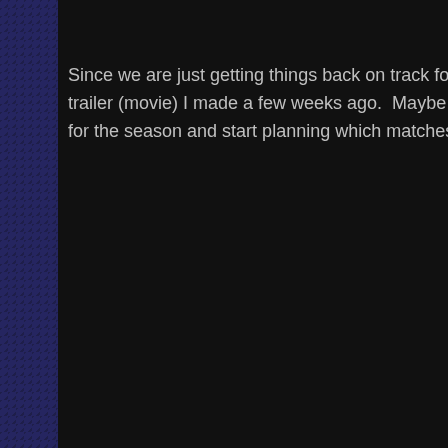Since we are just getting things back on track for the season, I tho trailer (movie) I made a few weeks ago.  Maybe it will inspire some for the season and start planning which matches you'll be shootin